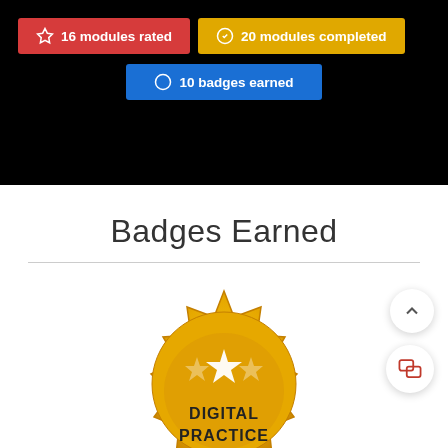16 modules rated
20 modules completed
10 badges earned
Badges Earned
[Figure (illustration): Gold seal badge with star icons and text DIGITAL PRACTICE]